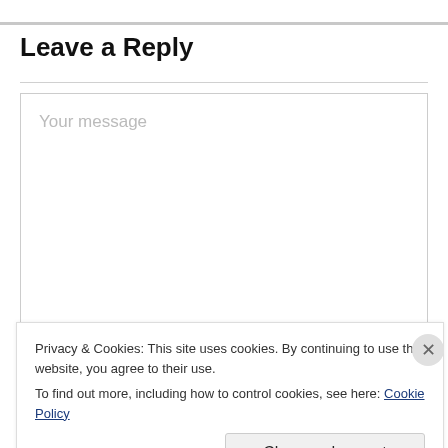Leave a Reply
[Figure (screenshot): Empty message text area with placeholder text 'Your message']
Privacy & Cookies: This site uses cookies. By continuing to use this website, you agree to their use.
To find out more, including how to control cookies, see here: Cookie Policy
Close and accept